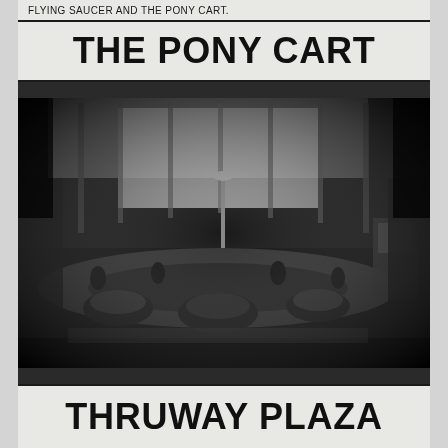FLYING SAUCER AND THE PONY CART.
THE PONY CART
[Figure (photo): Black and white photograph of a pony cart ride attraction, showing small vehicles on a circular track inside what appears to be an amusement or shopping mall setting. The image is grainy and high-contrast.]
THRUWAY PLAZA